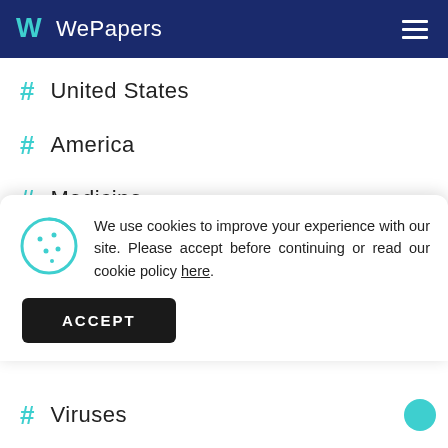WePapers
# United States
# America
# Medicine
We use cookies to improve your experience with our site. Please accept before continuing or read our cookie policy here.
# Viruses
# Blood
# Immune System